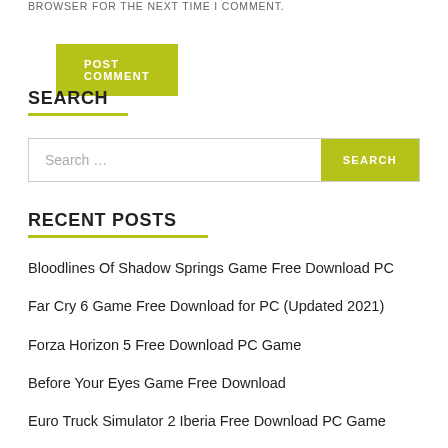BROWSER FOR THE NEXT TIME I COMMENT.
POST COMMENT
SEARCH
Search …
RECENT POSTS
Bloodlines Of Shadow Springs Game Free Download PC
Far Cry 6 Game Free Download for PC (Updated 2021)
Forza Horizon 5 Free Download PC Game
Before Your Eyes Game Free Download
Euro Truck Simulator 2 Iberia Free Download PC Game